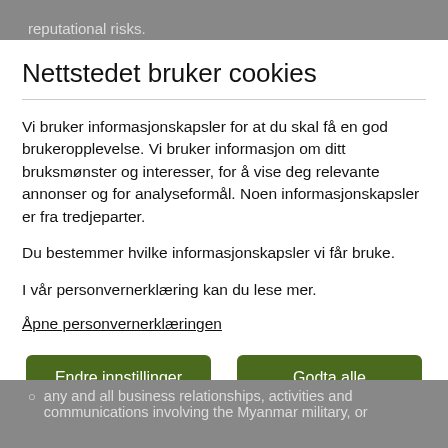reputational risks.
As long-term investors and their representatives
Nettstedet bruker cookies
Vi bruker informasjonskapsler for at du skal få en god brukeropplevelse. Vi bruker informasjon om ditt bruksmønster og interesser, for å vise deg relevante annonser og for analyseformål. Noen informasjonskapsler er fra tredjeparter.
Du bestemmer hvilke informasjonskapsler vi får bruke.
I vår personvernerklæring kan du lese mer.
Åpne personvernerklæringen
Endre innstillinger
Godta alle
any and all business relationships, activities and communications involving the Myanmar military, or